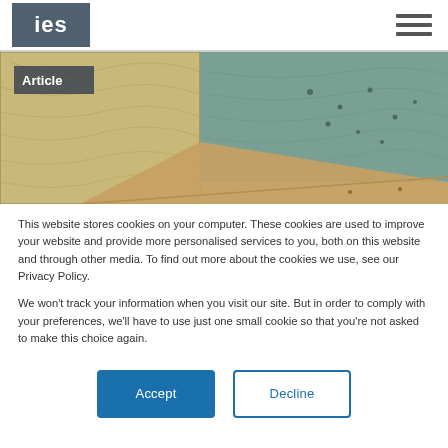ies
[Figure (photo): Construction photo showing plywood and wooden framing panels. An 'Article' label badge is overlaid in the top-left corner of the image.]
This website stores cookies on your computer. These cookies are used to improve your website and provide more personalised services to you, both on this website and through other media. To find out more about the cookies we use, see our Privacy Policy.
We won't track your information when you visit our site. But in order to comply with your preferences, we'll have to use just one small cookie so that you're not asked to make this choice again.
Accept   Decline